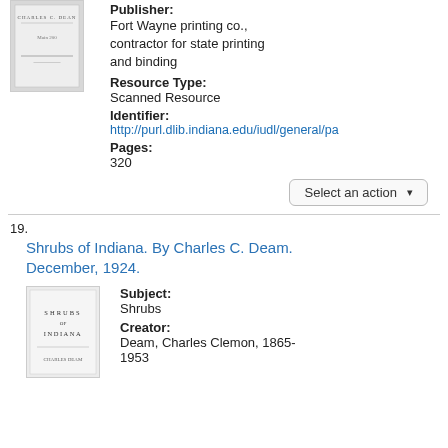[Figure (illustration): Thumbnail of a book cover, partially visible, top-left corner of page]
Publisher:
Fort Wayne printing co., contractor for state printing and binding
Resource Type:
Scanned Resource
Identifier:
http://purl.dlib.indiana.edu/iudl/general/pa
Pages:
320
Select an action ▾
19.
Shrubs of Indiana. By Charles C. Deam. December, 1924.
[Figure (illustration): Thumbnail of book cover for Shrubs of Indiana by Charles C. Deam, showing text SHRUBS OF INDIANA]
Subject:
Shrubs
Creator:
Deam, Charles Clemon, 1865-1953